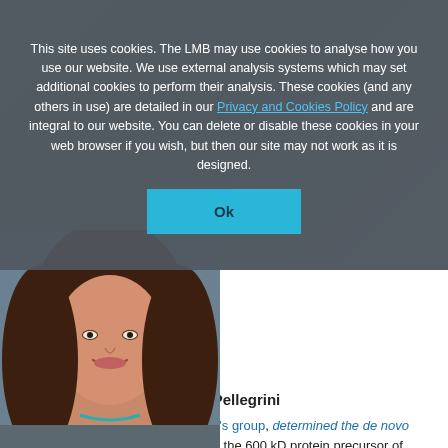This site uses cookies. The LMB may use cookies to analyse how you use our website. We use external analysis systems which may set additional cookies to perform their analysis. These cookies (and any others in use) are detailed in our Privacy and Cookies Policy and are integral to our website. You can delete or disable these cookies in your web browser if you wish, but then our site may not work as it is designed.
[Ok button]
[Figure (photo): Portrait photograph of Laura Pellegrini, a woman with long brown hair, smiling, wearing a teal necklace.]
Laura Pellegrini
Francesca, a postdoc in Jan Löwe's group, determined the de novo cryo-EM structure of thyroglobulin, the 600 kD protein precursor of thyroid hormones that are essential for vertebrate